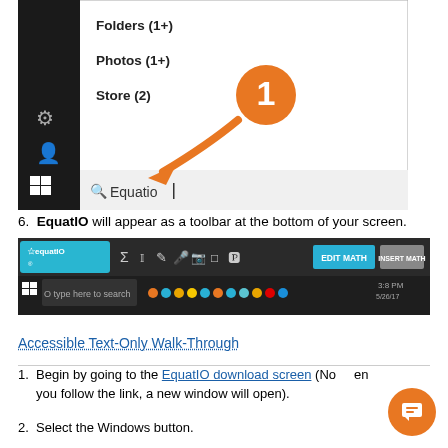[Figure (screenshot): Windows taskbar search screenshot showing Folders (1+), Photos (1+), Store (2) search results, with settings and user icons on left sidebar, a Windows logo button, and search box with 'Equatio' typed. An orange arrow with circled number 1 points to the search box.]
6. EquatIO will appear as a toolbar at the bottom of your screen.
[Figure (screenshot): Screenshot of EquatIO toolbar at the bottom of the screen, showing the EquatIO logo on the left, various editing tool icons, EDIT MATH and INSERT MATH buttons on the right, and the Windows taskbar below with system tray icons.]
Accessible Text-Only Walk-Through
1. Begin by going to the EquatIO download screen (Note: when you follow the link, a new window will open).
2. Select the Windows button.